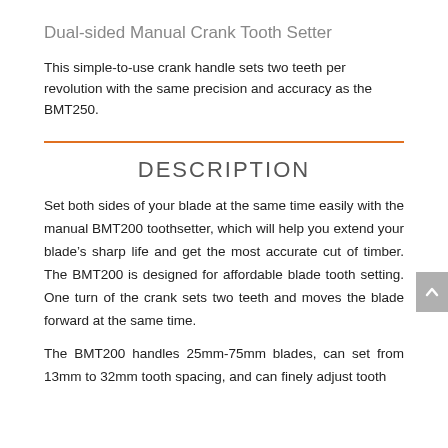Dual-sided Manual Crank Tooth Setter
This simple-to-use crank handle sets two teeth per revolution with the same precision and accuracy as the BMT250.
DESCRIPTION
Set both sides of your blade at the same time easily with the manual BMT200 toothsetter, which will help you extend your blade’s sharp life and get the most accurate cut of timber. The BMT200 is designed for affordable blade tooth setting. One turn of the crank sets two teeth and moves the blade forward at the same time.
The BMT200 handles 25mm-75mm blades, can set from 13mm to 32mm tooth spacing, and can finely adjust tooth spacing.